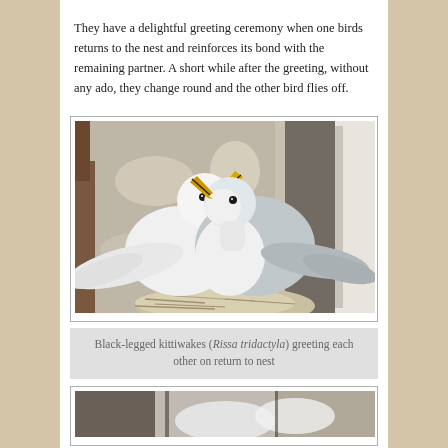They have a delightful greeting ceremony when one birds returns to the nest and reinforces its bond with the remaining partner. A short while after the greeting, without any ado, they change round and the other bird flies off.
[Figure (photo): Two Black-legged kittiwakes (Rissa tridactyla) with yellow beaks open, greeting each other at their nest on a ledge]
Black-legged kittiwakes (Rissa tridactyla) greeting each other on return to nest
[Figure (photo): Partial view of another bird photograph, cropped at bottom of page]